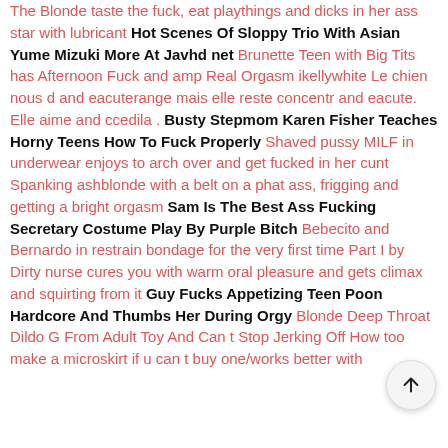The Blonde taste the fuck, eat playthings and dicks in her ass star with lubricant Hot Scenes Of Sloppy Trio With Asian Yume Mizuki More At Javhd net Brunette Teen with Big Tits has Afternoon Fuck and amp Real Orgasm ikellywhite Le chien nous d and eacuterange mais elle reste concentr and eacute. Elle aime and ccedila . Busty Stepmom Karen Fisher Teaches Horny Teens How To Fuck Properly Shaved pussy MILF in underwear enjoys to arch over and get fucked in her cunt Spanking ashblonde with a belt on a phat ass, frigging and getting a bright orgasm Sam Is The Best Ass Fucking Secretary Costume Play By Purple Bitch Bebecito and Bernardo in restrain bondage for the very first time Part I by Dirty nurse cures you with warm oral pleasure and gets climax and squirting from it Guy Fucks Appetizing Teen Poon Hardcore And Thumbs Her During Orgy Blonde Deep Throat Dildo G From Adult Toy And Can t Stop Jerking Off How too make a microskirt if u can t buy one/works better with